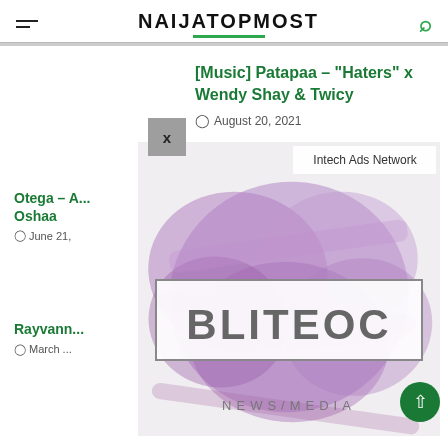NAIJATOPMOST
[Music] Patapaa – “Haters” x Wendy Shay & Twicy
August 20, 2021
Otega – A... Oshaa
June 21,
Rayvann...
March ...
[Figure (logo): Bliteoc News/Media watermark logo with purple paint brush stroke background]
Intech Ads Network